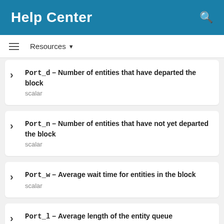Help Center
Resources
Port_d — Number of entities that have departed the block
scalar
Port_n — Number of entities that have not yet departed the block
scalar
Port_w — Average wait time for entities in the block
scalar
Port_l — Average length of the entity queue
scalar